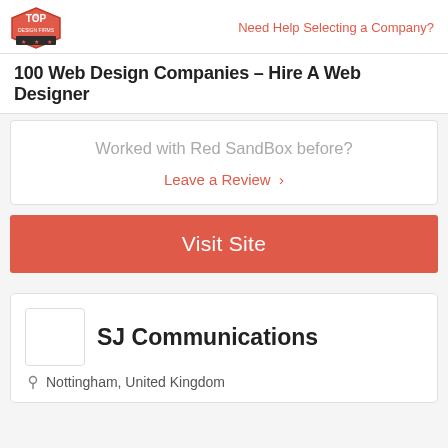Top Design Firms logo | Need Help Selecting a Company?
100 Web Design Companies – Hire A Web Designer
Worked with Red SandBox before?
Leave a Review >
Visit Site
SJ Communications
Nottingham, United Kingdom